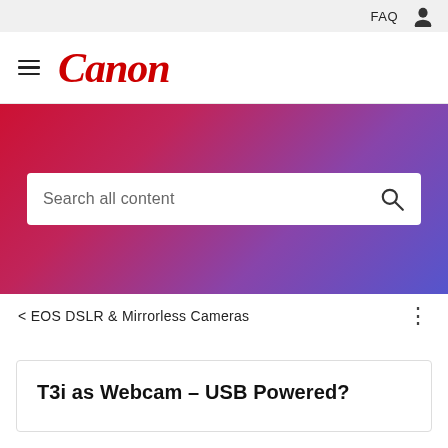FAQ
[Figure (logo): Canon logo with hamburger menu icon]
[Figure (screenshot): Red to purple gradient hero banner with search bar labeled 'Search all content']
< EOS DSLR & Mirrorless Cameras
T3i as Webcam – USB Powered?